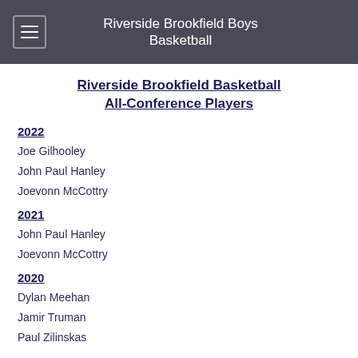Riverside Brookfield Boys Basketball
Riverside Brookfield Basketball All-Conference Players
2022
Joe Gilhooley
John Paul Hanley
Joevonn McCottry
2021
John Paul Hanley
Joevonn McCottry
2020
Dylan Meehan
Jamir Truman
Paul Zilinskas